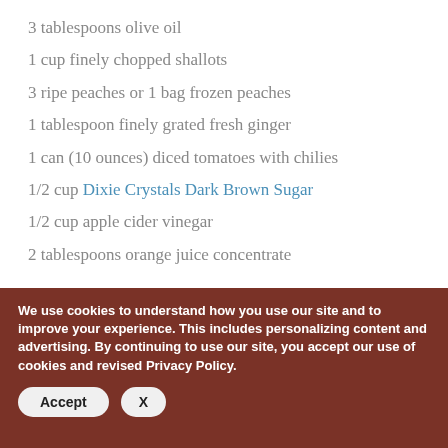3 tablespoons olive oil
1 cup finely chopped shallots
3 ripe peaches or 1 bag frozen peaches
1 tablespoon finely grated fresh ginger
1 can (10 ounces) diced tomatoes with chilies
1/2 cup Dixie Crystals Dark Brown Sugar
1/2 cup apple cider vinegar
2 tablespoons orange juice concentrate
We use cookies to understand how you use our site and to improve your experience. This includes personalizing content and advertising. By continuing to use our site, you accept our use of cookies and revised Privacy Policy.